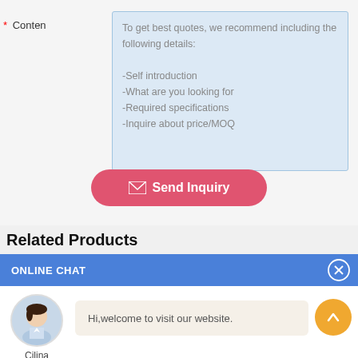* Content
To get best quotes, we recommend including the following details:

-Self introduction
-What are you looking for
-Required specifications
-Inquire about price/MOQ
Send Inquiry
Related Products
ONLINE CHAT
[Figure (photo): Avatar photo of a woman named Cilina with chat widget showing 'Hi,welcome to visit our website.']
Hi,welcome to visit our website.
Cilina